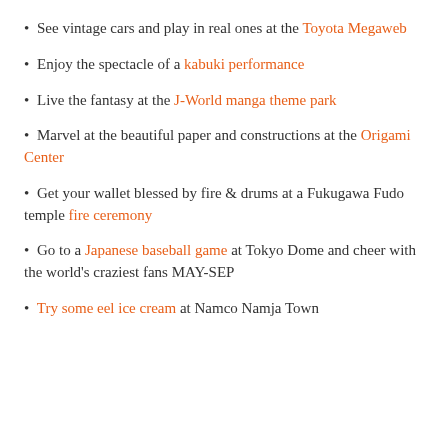See vintage cars and play in real ones at the Toyota Megaweb
Enjoy the spectacle of a kabuki performance
Live the fantasy at the J-World manga theme park
Marvel at the beautiful paper and constructions at the Origami Center
Get your wallet blessed by fire & drums at a Fukugawa Fudo temple fire ceremony
Go to a Japanese baseball game at Tokyo Dome and cheer with the world's craziest fans MAY-SEP
Try some eel ice cream at Namco Namja Town